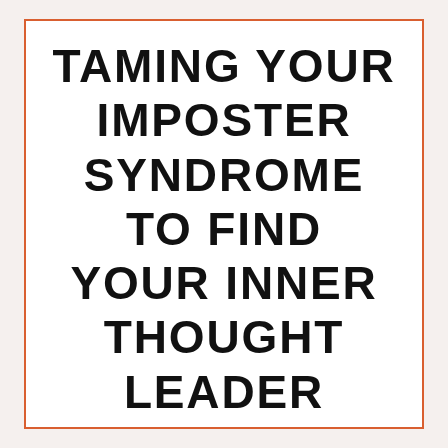TAMING YOUR IMPOSTER SYNDROME TO FIND YOUR INNER THOUGHT LEADER